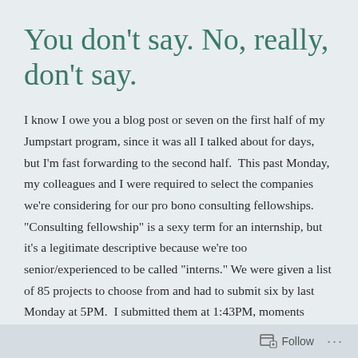You don’t say. No, really, don’t say.
I know I owe you a blog post or seven on the first half of my Jumpstart program, since it was all I talked about for days,  but I’m fast forwarding to the second half.  This past Monday, my colleagues and I were required to select the companies we’re considering for our pro bono consulting fellowships.  “Consulting fellowship” is a sexy term for an internship, but it’s a legitimate descriptive because we’re too senior/experienced to be called “interns.” We were given a list of 85 projects to choose from and had to submit six by last Monday at 5PM.  I submitted them at 1:43PM, moments before heading out to the bar to watch
Follow